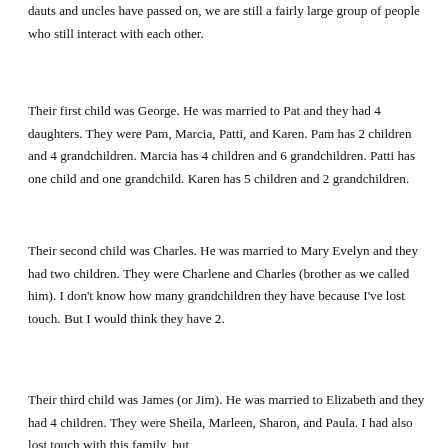dauts and uncles have passed on, we are still a fairly large group of people who still interact with each other.
Their first child was George. He was married to Pat and they had 4 daughters. They were Pam, Marcia, Patti, and Karen. Pam has 2 children and 4 grandchildren. Marcia has 4 children and 6 grandchildren. Patti has one child and one grandchild. Karen has 5 children and 2 grandchildren.
Their second child was Charles. He was married to Mary Evelyn and they had two children. They were Charlene and Charles (brother as we called him). I don't know how many grandchildren they have because I've lost touch. But I would think they have 2.
Their third child was James (or Jim). He was married to Elizabeth and they had 4 children. They were Sheila, Marleen, Sharon, and Paula. I had also lost touch with this family, but